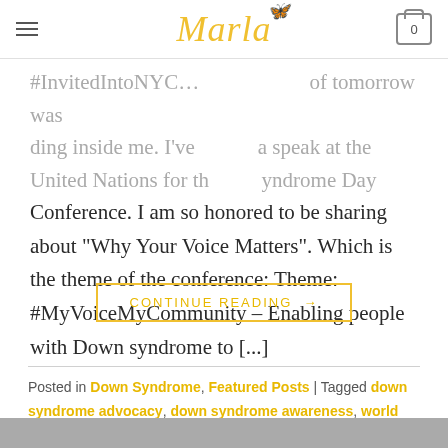Marla
...#InvitedIntoNYC... of tomorrow was leading inside me. I've been asked to speak at the United Nations for the World Down Syndrome Day Conference. I am so honored to be sharing about "Why Your Voice Matters". Which is the theme of the conference: Theme: #MyVoiceMyCommunity – Enabling people with Down syndrome to [...]
CONTINUE READING →
Posted in Down Syndrome, Featured Posts | Tagged down syndrome advocacy, down syndrome awareness, world down syndrome day    Leave a comment